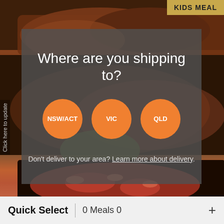[Figure (photo): Background food photo showing grilled meat (top) and a shrimp/tomato dish (bottom), with a blurred dark background]
KIDS MEAL
Click here to update
Where are you shipping to?
NSW/ACT
VIC
QLD
Don't deliver to your area? Learn more about delivery.
Quick Select  |  0 Meals  0  +